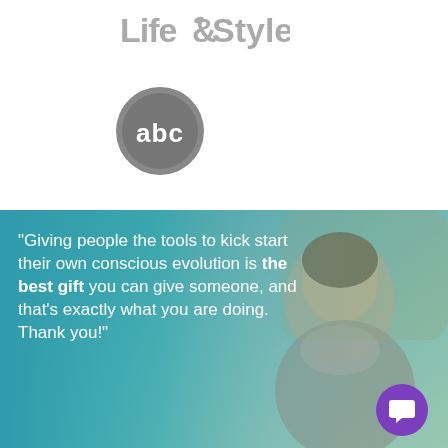[Figure (logo): Life&Style magazine logo in gray text with stylized ampersand]
[Figure (logo): ABC network circular logo in gray with 'abc' text]
[Figure (photo): Photo of a man looking thoughtful against a teal/blue background with overlaid quote text and purple chat icon]
“Giving people the tools to kick start their own conscious evolution is the best gift you can give someone, and that’s exactly what you are doing. Thank you!”